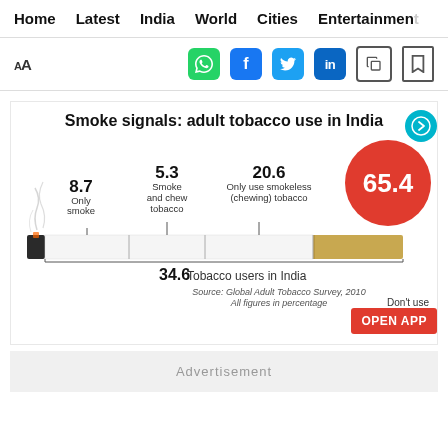Home  Latest  India  World  Cities  Entertainment
[Figure (infographic): Social sharing toolbar with font size toggle (AA), WhatsApp, Facebook, Twitter, LinkedIn, copy, and bookmark icons]
Smoke signals: adult tobacco use in India
[Figure (infographic): Cigarette infographic showing adult tobacco use in India. 8.7 Only smoke, 5.3 Smoke and chew tobacco, 20.6 Only use smokeless (chewing) tobacco. 34.6 Tobacco users in India. 65.4 Don't use tobacco. Source: Global Adult Tobacco Survey, 2010. All figures in percentage.]
34.6 Tobacco users in India
Source: Global Adult Tobacco Survey, 2010
All figures in percentage
Advertisement